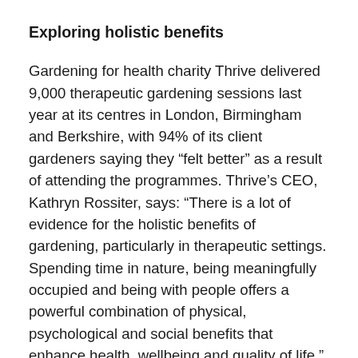Exploring holistic benefits
Gardening for health charity Thrive delivered 9,000 therapeutic gardening sessions last year at its centres in London, Birmingham and Berkshire, with 94% of its client gardeners saying they “felt better” as a result of attending the programmes. Thrive’s CEO, Kathryn Rossiter, says: “There is a lot of evidence for the holistic benefits of gardening, particularly in therapeutic settings. Spending time in nature, being meaningfully occupied and being with people offers a powerful combination of physical, psychological and social benefits that enhance health, wellbeing and quality of life.”
Kathryn adds: “It has been encouraging to see how the health benefits of gardening have been increasingly prominent in conversations within the